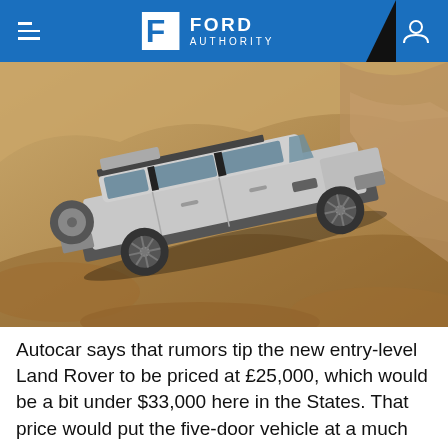Ford Authority
[Figure (photo): Silver Land Rover Defender SUV navigating steep sandy/rocky off-road terrain at an angle, viewed from the side. The vehicle has a roof rack with cargo box, spare tire mounted on rear. Sandy brown rocky hillside surrounds the vehicle.]
Autocar says that rumors tip the new entry-level Land Rover to be priced at £25,000, which would be a bit under $33,000 here in the States. That price would put the five-door vehicle at a much lower cost than the